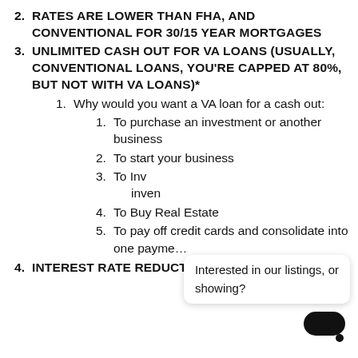2. RATES ARE LOWER THAN FHA, AND CONVENTIONAL FOR 30/15 YEAR MORTGAGES
3. UNLIMITED CASH OUT FOR VA LOANS (USUALLY, CONVENTIONAL LOANS, YOU'RE CAPPED AT 80%, BUT NOT WITH VA LOANS)*
1. Why would you want a VA loan for a cash out:
1. To purchase an investment or another business
2. To start your business
3. To Inv inven [partially obscured]
4. To Buy Real Estate
5. To pay off credit cards and consolidate into one payment
4. INTEREST RATE REDUCTION LOANS ARE IDEAL